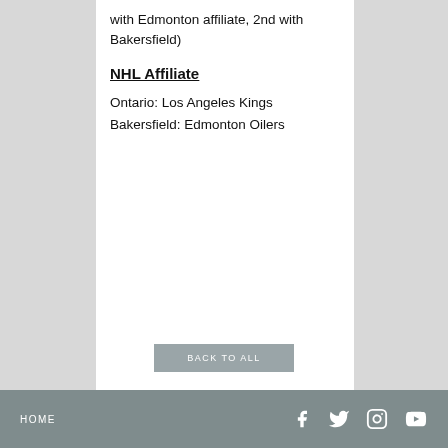with Edmonton affiliate, 2nd with Bakersfield)
NHL Affiliate
Ontario: Los Angeles Kings
Bakersfield: Edmonton Oilers
HOME  [Facebook] [Twitter] [Instagram] [YouTube]